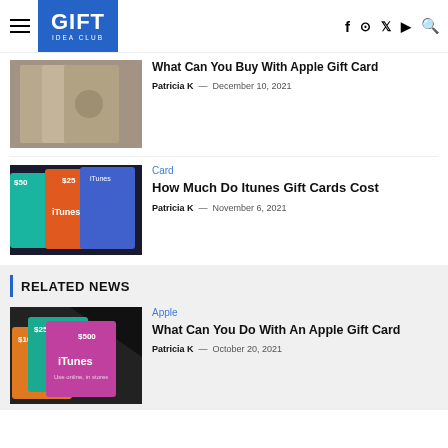GIFT IDEA CLUB
[Figure (screenshot): Partial article thumbnail showing Apple boxes with Apple logo]
What Can You Buy With Apple Gift Card — Patricia K — December 10, 2021
[Figure (screenshot): iTunes gift cards of various denominations displayed on shelf]
Card — How Much Do Itunes Gift Cards Cost — Patricia K — November 6, 2021
RELATED NEWS
[Figure (screenshot): iTunes gift cards with $100, $250, $500 denominations fanned out]
Apple — What Can You Do With An Apple Gift Card — Patricia K — October 20, 2021